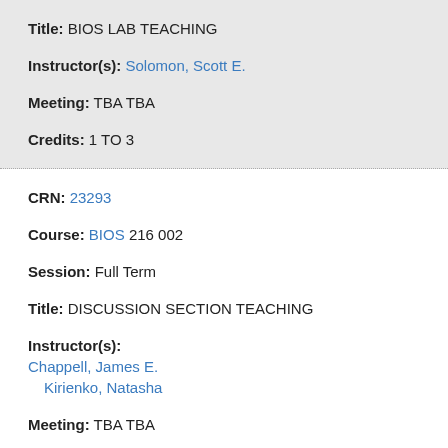Title: BIOS LAB TEACHING
Instructor(s): Solomon, Scott E.
Meeting: TBA TBA
Credits: 1 TO 3
CRN: 23293
Course: BIOS 216 002
Session: Full Term
Title: DISCUSSION SECTION TEACHING
Instructor(s): Chappell, James E.
Kirienko, Natasha
Meeting: TBA TBA